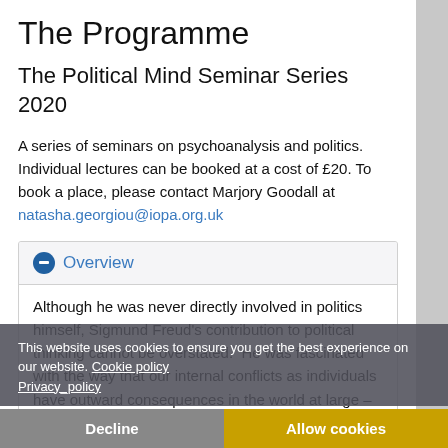The Programme
The Political Mind Seminar Series 2020
A series of seminars on psychoanalysis and politics. Individual lectures can be booked at a cost of £20. To book a place, please contact Marjory Goodall at natasha.georgiou@iopa.org.uk
Overview
Although he was never directly involved in politics himself, Sigmund Freud's contribution to political thinking cannot be overstated.  He was fascinated with the way that our internal conflicts as individuals have outward consequences in the world at large – and many of his ideas laid down the basis of what has become an enormous body of thought on how society works.
This website uses cookies to ensure you get the best experience on our website. Cookie policy Privacy_policy
Decline
Allow cookies